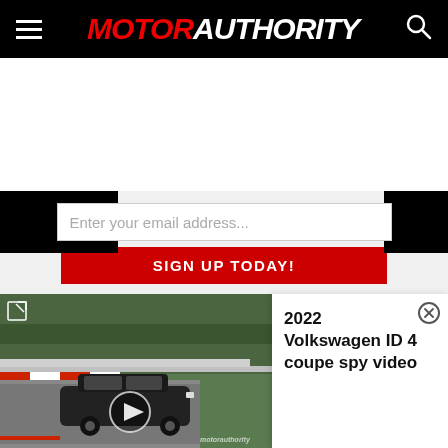MOTOR AUTHORITY
[Figure (screenshot): Email newsletter signup form with black decorative blocks, email input field and red SIGN UP TODAY! button]
[Figure (screenshot): Video player thumbnail showing a dark SUV on a racing track (Nürburgring), with expand icon and play button overlay, alongside video title panel]
2022 Volkswagen ID 4 coupe spy video